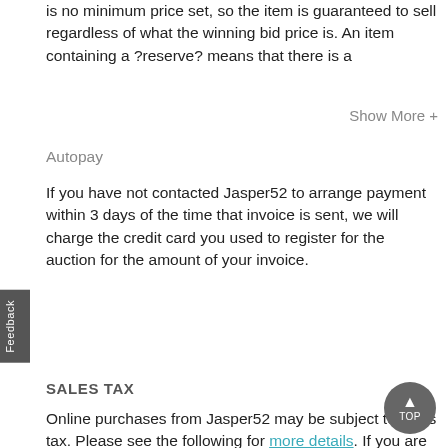is no minimum price set, so the item is guaranteed to sell regardless of what the winning bid price is. An item containing a ?reserve? means that there is a
Show More +
Autopay
If you have not contacted Jasper52 to arrange payment within 3 days of the time that invoice is sent, we will charge the credit card you used to register for the auction for the amount of your invoice.
SALES TAX
Online purchases from Jasper52 may be subject to sales tax. Please see the following for more details. If you are tax-exempt, you can submit your tax-exempt certificate to prevent the collection of tax. Learn more about tax-exemption.